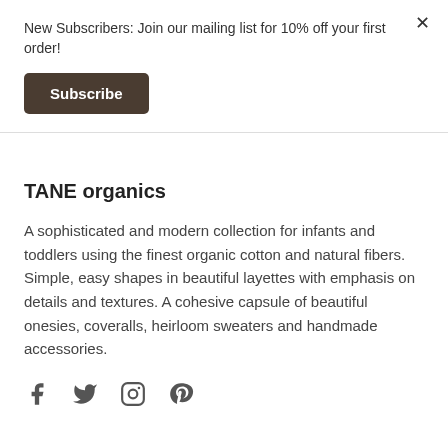New Subscribers: Join our mailing list for 10% off your first order!
Subscribe
×
TANE organics
A sophisticated and modern collection for infants and toddlers using the finest organic cotton and natural fibers. Simple, easy shapes in beautiful layettes with emphasis on details and textures. A cohesive capsule of beautiful onesies, coveralls, heirloom sweaters and handmade accessories.
[Figure (other): Social media icons: Facebook, Twitter, Instagram, Pinterest]